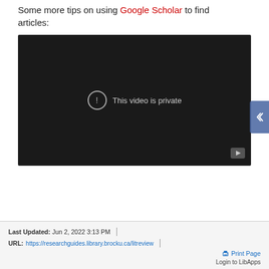Some more tips on using Google Scholar to find articles:
[Figure (screenshot): Embedded video player showing a private YouTube video with message 'This video is private' and a circular exclamation icon. Dark background with YouTube logo in bottom-right corner.]
Last Updated: Jun 2, 2022 3:13 PM | URL: https://researchguides.library.brocku.ca/litreview | Print Page | Login to LibApps